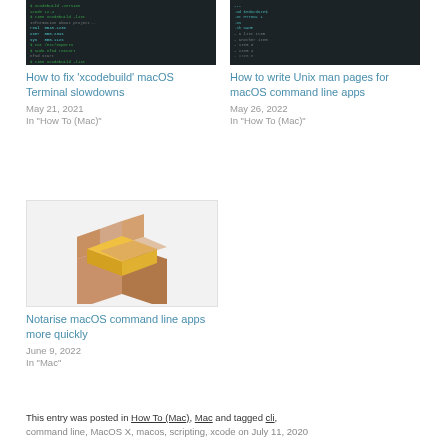[Figure (screenshot): Terminal window showing xcodebuild commands with green monospace text on dark background]
How to fix 'xcodebuild' macOS Terminal slowdowns
May 21, 2021
In "How To (Mac)"
[Figure (screenshot): Terminal or text editor showing Unix man page markup with cyan text on dark background]
How to write Unix man pages for macOS command line apps
May 26, 2022
In "How To (Mac)"
[Figure (illustration): Open cardboard box illustration with yellow block inside, brown box exterior]
Notarise macOS command line apps more quickly
June 9, 2022
In "Mac"
This entry was posted in How To (Mac), Mac and tagged cli, command line, MacOS X, macos, scripting, xcode on July 11, 2020